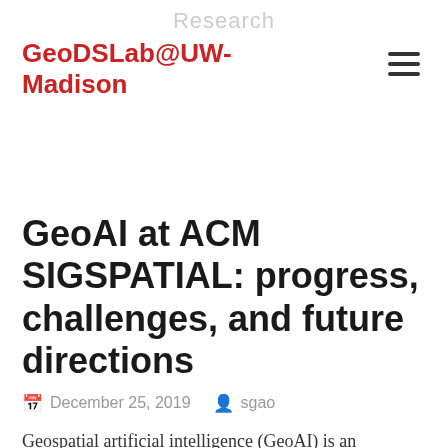Research
GeoDSLab@UW-Madison
GeoAI at ACM SIGSPATIAL: progress, challenges, and future directions
December 25, 2019  sgao
Geospatial artificial intelligence (GeoAI) is an interdisciplinary field that has received tremendous attention from both academia and industry in recent years. We recently published an article that reviews the series of GeoAI workshops held at the Association for Computing Machinery (ACM) International